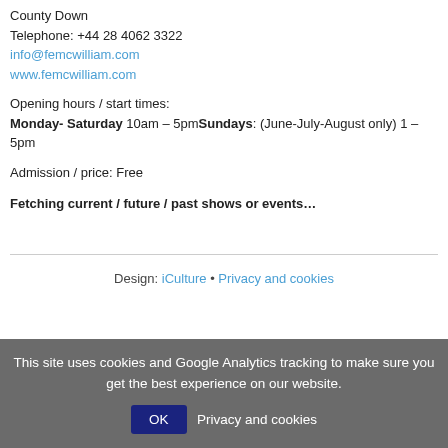County Down
Telephone: +44 28 4062 3322
info@femcwilliam.com
www.femcwilliam.com
Opening hours / start times:
Monday- Saturday 10am – 5pmSundays: (June-July-August only) 1 – 5pm
Admission / price: Free
Fetching current / future / past shows or events…
Design: iCulture • Privacy and cookies
This site uses cookies and Google Analytics tracking to make sure you get the best experience on our website. OK Privacy and cookies